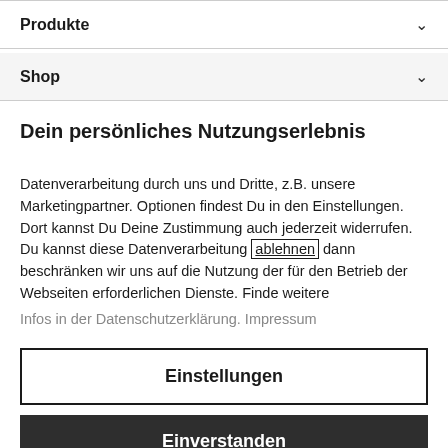Produkte
Shop
Dein persönliches Nutzungserlebnis
Datenverarbeitung durch uns und Dritte, z.B. unsere Marketingpartner. Optionen findest Du in den Einstellungen. Dort kannst Du Deine Zustimmung auch jederzeit widerrufen. Du kannst diese Datenverarbeitung ablehnen dann beschränken wir uns auf die Nutzung der für den Betrieb der Webseiten erforderlichen Dienste. Finde weitere Infos in der Datenschutzerklärung. Impressum
Einstellungen
Einverstanden